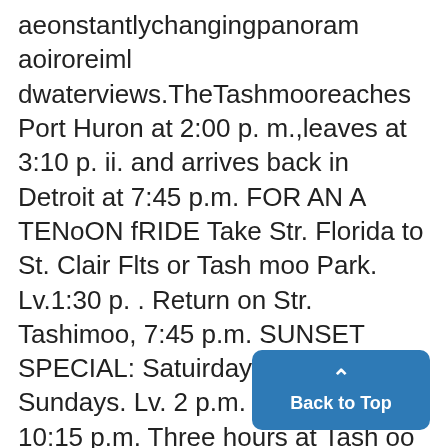aeonstantlychangingpanoram aoiroreiml dwaterviews.TheTashmooreaches Port Huron at 2:00 p. m.,leaves at 3:10 p. ii. and arrives back in Detroit at 7:45 p.m. FOR AN A TENoON fRIDE Take Str. Florida to St. Clair Flts or Tash moo Park. Lv.1:30 p. . Return on Str. Tashimoo, 7:45 p.m. SUNSET SPECIAL: Satuirdays andi Sundays. Lv. 2 p.m. Return 7:45 or 10:15 p.m. Three hours at Tash oo Park: faur hours at St. Clair Flats; one hour at Russell Island. Fare:VWeekdays, $1 R. T. Sundays, $1.25. Railroad TiCkets readingG. T. R
Back to Top